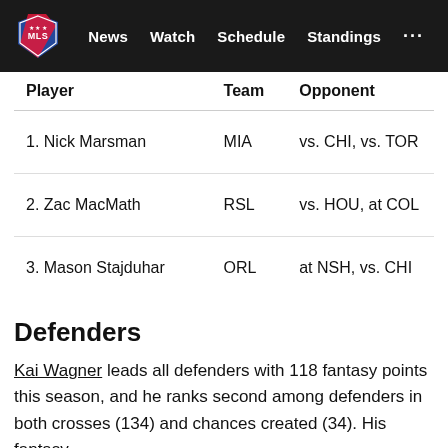MLS · News · Watch · Schedule · Standings · ···
| Player | Team | Opponent |
| --- | --- | --- |
| 1. Nick Marsman | MIA | vs. CHI, vs. TOR |
| 2. Zac MacMath | RSL | vs. HOU, at COL |
| 3. Mason Stajduhar | ORL | at NSH, vs. CHI |
Defenders
Kai Wagner leads all defenders with 118 fantasy points this season, and he ranks second among defenders in both crosses (134) and chances created (34). His fantasy